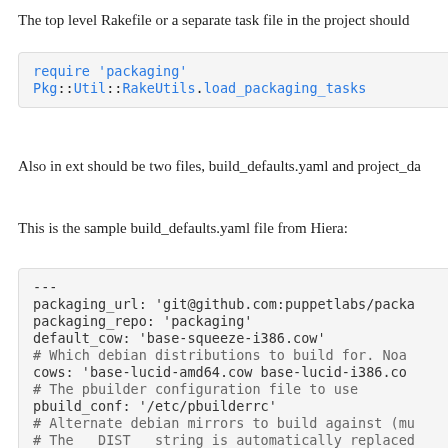The top level Rakefile or a separate task file in the project should
[Figure (screenshot): Code block showing: require 'packaging' and Pkg::Util::RakeUtils.load_packaging_tasks]
Also in ext should be two files, build_defaults.yaml and project_da
This is the sample build_defaults.yaml file from Hiera:
[Figure (screenshot): YAML code block showing build_defaults.yaml configuration with packaging_url, packaging_repo, default_cow, cows, pbuild_conf, and commented debian mirrors settings]